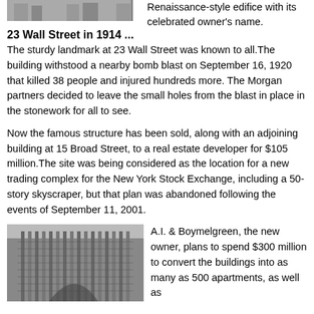[Figure (photo): Top portion of a black and white photo of a building, partially cropped at top]
Renaissance-style edifice with its celebrated owner's name.
23 Wall Street in 1914 ...
The sturdy landmark at 23 Wall Street was known to all.The building withstood a nearby bomb blast on September 16, 1920 that killed 38 people and injured hundreds more. The Morgan partners decided to leave the small holes from the blast in place in the stonework for all to see.
Now the famous structure has been sold, along with an adjoining building at 15 Broad Street, to a real estate developer for $105 million.The site was being considered as the location for a new trading complex for the New York Stock Exchange, including a 50-story skyscraper, but that plan was abandoned following the events of September 11, 2001.
[Figure (photo): Black and white photo of a tall skyscraper/building shot from below looking up]
A.I. & Boymelgreen, the new owner, plans to spend $300 million to convert the buildings into as many as 500 apartments, as well as